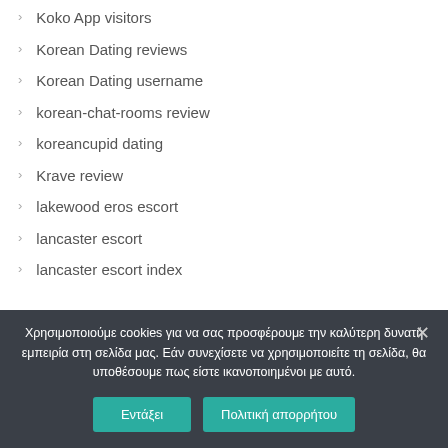Koko App visitors
Korean Dating reviews
Korean Dating username
korean-chat-rooms review
koreancupid dating
Krave review
lakewood eros escort
lancaster escort
lancaster escort index
Χρησιμοποιούμε cookies για να σας προσφέρουμε την καλύτερη δυνατή εμπειρία στη σελίδα μας. Εάν συνεχίσετε να χρησιμοποιείτε τη σελίδα, θα υποθέσουμε πως είστε ικανοποιημένοι με αυτό.
Εντάξει | Πολιτική απορρήτου